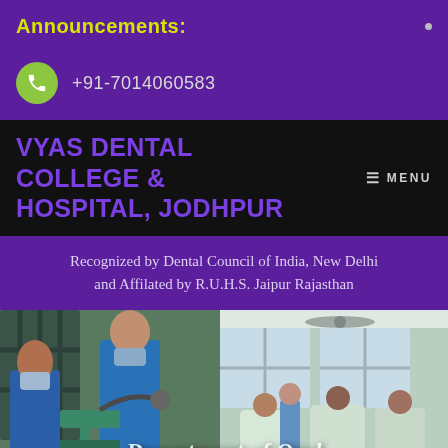Announcements:
+91-7014060583
VYAS DENTAL COLLEGE & HOSPITAL, JODHPUR
MENU
Recognized by Dental Council of India, New Delhi and Affilated by R.U.H.S. Jaipur Rajasthan
[Figure (photo): Two photos side by side: left shows dental equipment and medical staff in blue scrubs with mask; right shows a dental clinic room with patients and chairs. Overlaid text reads 'Department of Oral Pathology']